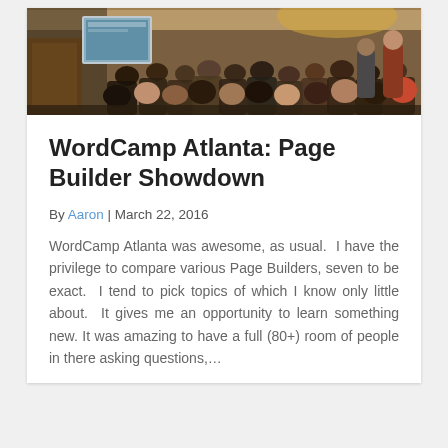[Figure (photo): Panoramic photo of a crowded conference room at WordCamp Atlanta, showing many attendees seated and standing, with a projection screen visible at the front.]
WordCamp Atlanta: Page Builder Showdown
By Aaron | March 22, 2016
WordCamp Atlanta was awesome, as usual.  I have the privilege to compare various Page Builders, seven to be exact.  I tend to pick topics of which I know only little about.  It gives me an opportunity to learn something new. It was amazing to have a full (80+) room of people in there asking questions,…